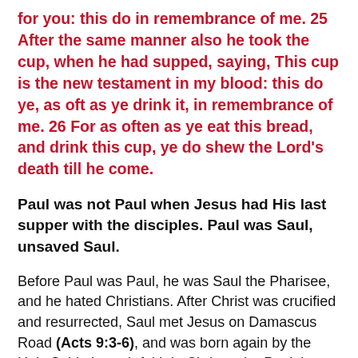for you: this do in remembrance of me. 25 After the same manner also he took the cup, when he had supped, saying, This cup is the new testament in my blood: this do ye, as oft as ye drink it, in remembrance of me. 26 For as often as ye eat this bread, and drink this cup, ye do shew the Lord's death till he come.
Paul was not Paul when Jesus had His last supper with the disciples. Paul was Saul, unsaved Saul.
Before Paul was Paul, he was Saul the Pharisee, and he hated Christians. After Christ was crucified and resurrected, Saul met Jesus on Damascus Road (Acts 9:3-6), and was born again by the Holy Spirit through faith in Christ to be Paul the Apostle. Someone had to show Paul the Lord's Table, so that Paul could show the Lord's Table to others. What the Corinthians were doing was not